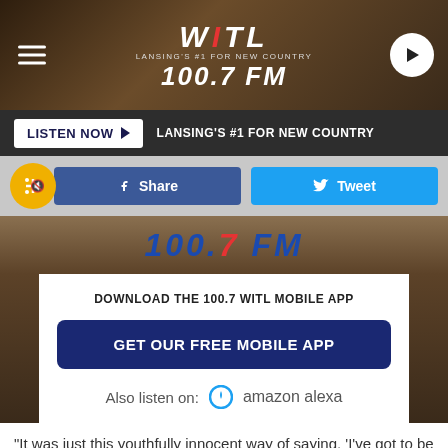[Figure (screenshot): WITL 100.7 FM radio station header banner with logo, hamburger menu, and play button]
LISTEN NOW ▶  LANSING'S #1 FOR NEW COUNTRY
Share  Tweet
[Figure (logo): 100.7 FM logo strip]
DOWNLOAD THE 100.7 WITL MOBILE APP
GET OUR FREE MOBILE APP
Also listen on:  amazon alexa
"It was just this youthfully innocent way of saying, 'I've got to be who I am from the beginning of this,'" the singer explains.